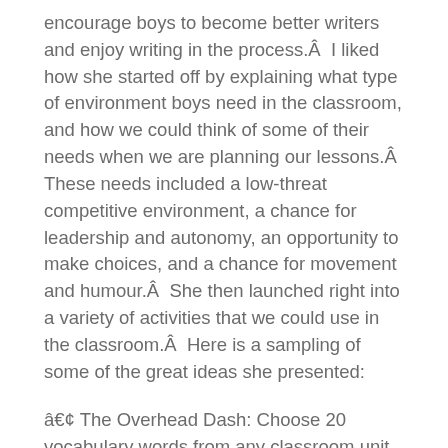encourage boys to become better writers and enjoy writing in the process.Â  I liked how she started off by explaining what type of environment boys need in the classroom, and how we could think of some of their needs when we are planning our lessons.Â  These needs included a low-threat competitive environment, a chance for leadership and autonomy, an opportunity to make choices, and a chance for movement and humour.Â  She then launched right into a variety of activities that we could use in the classroom.Â  Here is a sampling of some of the great ideas she presented:
• The Overhead Dash: Choose 20 vocabulary words from any classroom unit, and make sure students have had an opportunity to go over the meanings of these